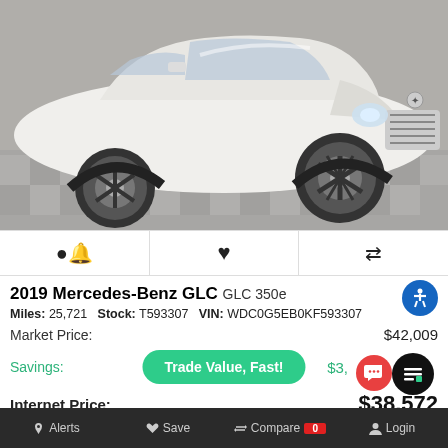[Figure (photo): White 2019 Mercedes-Benz GLC SUV parked on checkered floor in showroom, front three-quarter view]
🔔 ♥ ⇄ (icon bar: alert, save, compare)
2019 Mercedes-Benz GLC GLC 350e
Miles: 25,721  Stock: T593307  VIN: WDC0G5EB0KF593307
Market Price: $42,009
Savings: $3,___
Internet Price: $38,572
Trade Value, Fast!
Alerts  Save  Compare 0  Login